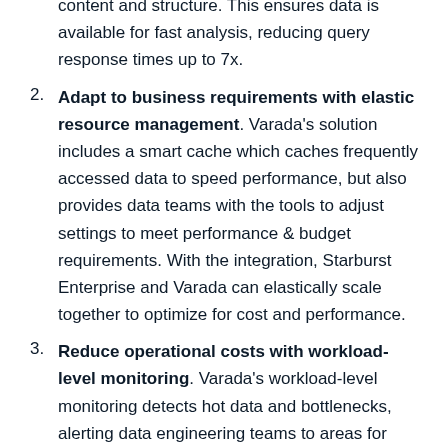(continued) content and structure. This ensures data is available for fast analysis, reducing query response times up to 7x.
2. Adapt to business requirements with elastic resource management. Varada's solution includes a smart cache which caches frequently accessed data to speed performance, but also provides data teams with the tools to adjust settings to meet performance & budget requirements. With the integration, Starburst Enterprise and Varada can elastically scale together to optimize for cost and performance.
3. Reduce operational costs with workload-level monitoring. Varada's workload-level monitoring detects hot data and bottlenecks, alerting data engineering teams to areas for improvement. With the solution overall reducing the need to move & model data, customers see up to 40% cloud compute cost reduction on AWS.